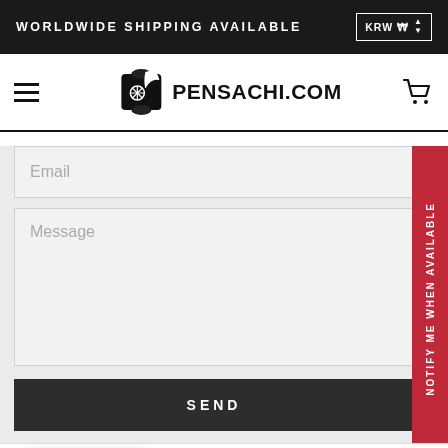WORLDWIDE SHIPPING AVAILABLE   KRW ₩
[Figure (logo): Pensachi.com logo with scroll and feather icon]
Email
Message
SEND
REWARD
NOTIFY ME WHEN AVAILABLE